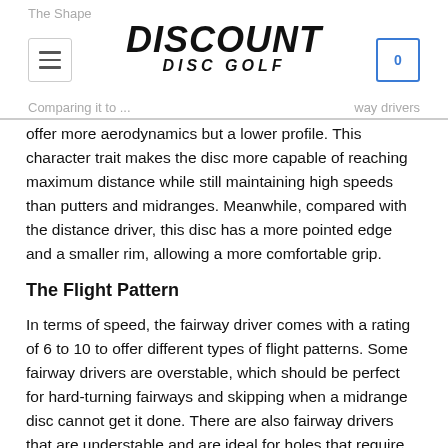The Shape / Discount Disc Golf / Comparing it to ... way drivers
offer more aerodynamics but a lower profile. This character trait makes the disc more capable of reaching maximum distance while still maintaining high speeds than putters and midranges. Meanwhile, compared with the distance driver, this disc has a more pointed edge and a smaller rim, allowing a more comfortable grip.
The Flight Pattern
In terms of speed, the fairway driver comes with a rating of 6 to 10 to offer different types of flight patterns. Some fairway drivers are overstable, which should be perfect for hard-turning fairways and skipping when a midrange disc cannot get it done. There are also fairway drivers that are understable and are ideal for holes that require left-to-right throws to disc.